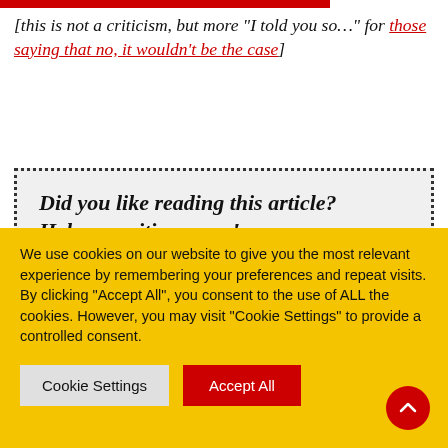[this is not a criticism, but more “I told you so…” for those saying that no, it wouldn’t be the case]
Did you like reading this article? Help us writing more!
CJAG website has been publishing local news for more than 14 years and remains committed to
We use cookies on our website to give you the most relevant experience by remembering your preferences and repeat visits. By clicking “Accept All”, you consent to the use of ALL the cookies. However, you may visit "Cookie Settings" to provide a controlled consent.